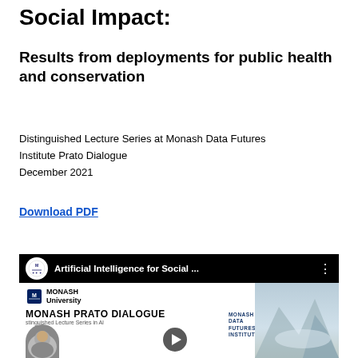Social Impact:
Results from deployments for public health and conservation
Distinguished Lecture Series at Monash Data Futures Institute Prato Dialogue
December 2021
Download PDF
[Figure (screenshot): Video thumbnail showing 'Artificial Intelligence for Social...' lecture from Monash Prato Dialogue Distinguished Lecture Series in AI, with Monash University and Monash Data Futures Institute logos, a speaker portrait at the bottom left, a play button, and a mountain/sky image on the right.]